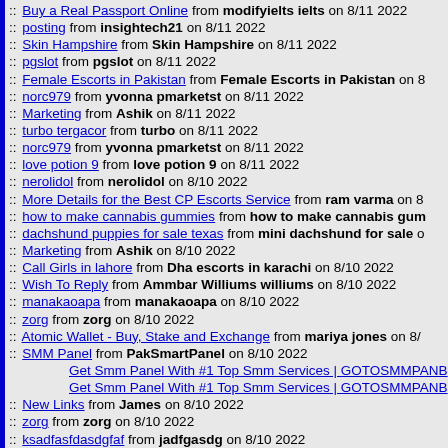:: Buy a Real Passport Online from modifyielts ielts on 8/11 2022
:: posting from insightech21 on 8/11 2022
:: Skin Hampshire from Skin Hampshire on 8/11 2022
:: pgslot from pgslot on 8/11 2022
:: Female Escorts in Pakistan from Female Escorts in Pakistan on 8
:: norc979 from yvonna pmarketst on 8/11 2022
:: Marketing from Ashik on 8/11 2022
:: turbo tergacor from turbo on 8/11 2022
:: norc979 from yvonna pmarketst on 8/11 2022
:: love potion 9 from love potion 9 on 8/11 2022
:: nerolidol from nerolidol on 8/10 2022
:: More Details for the Best CP Escorts Service from ram varma on 8
:: how to make cannabis gummies from how to make cannabis gum
:: dachshund puppies for sale texas from mini dachshund for sale o
:: Marketing from Ashik on 8/10 2022
:: Call Girls in lahore from Dha escorts in karachi on 8/10 2022
:: Wish To Reply from Ammbar Williums williums on 8/10 2022
:: manakaoapa from manakaoapa on 8/10 2022
:: zorg from zorg on 8/10 2022
:: Atomic Wallet - Buy, Stake and Exchange from mariya jones on 8/
:: SMM Panel from PakSmartPanel on 8/10 2022
Get Smm Panel With #1 Top Smm Services | GOTOSMMPANB
Get Smm Panel With #1 Top Smm Services | GOTOSMMPANB
:: New Links from James on 8/10 2022
:: zorg from zorg on 8/10 2022
:: ksadfasfdasdgfaf from jadfgasdg on 8/10 2022
:: https://main7.net/crazy/ from &#53356;&#47112;&#51060;&#51648
:: http://www.jeshika.com from Jaipur Escort Service on 8/10 2022
:: full spectrum cbd from full spectrum cbd on 8/10 2022
:: How To Remove Payment Method On Cash App And Add A New Ba